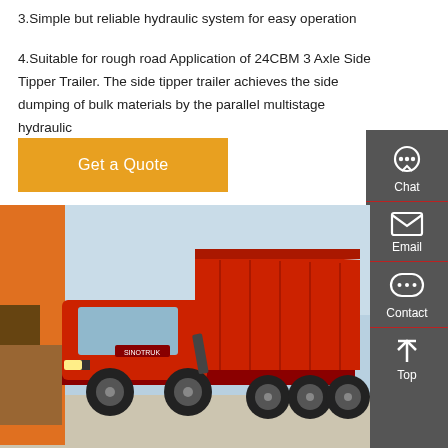3.Simple but reliable hydraulic system for easy operation
4.Suitable for rough road Application of 24CBM 3 Axle Side Tipper Trailer. The side tipper trailer achieves the side dumping of bulk materials by the parallel multistage hydraulic
Get a Quote
[Figure (photo): Red heavy-duty dump truck / tipper truck parked in a yard, with a raised red tipper body, multiple axles, and other vehicles visible in the background.]